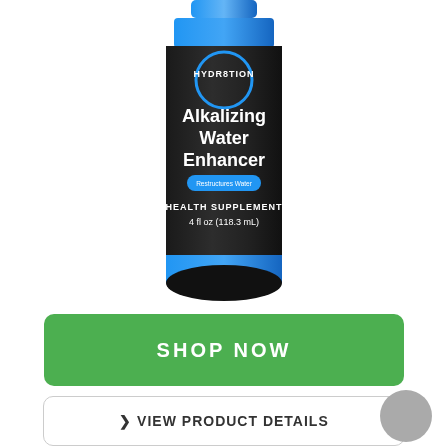[Figure (photo): A bottle of HYDRATION Alkalizing Water Enhancer health supplement, 4 fl oz (118.3 mL). Bottle is dark/black with blue bands at top and bottom, and white text labeling.]
SHOP NOW
❯ VIEW PRODUCT DETAILS